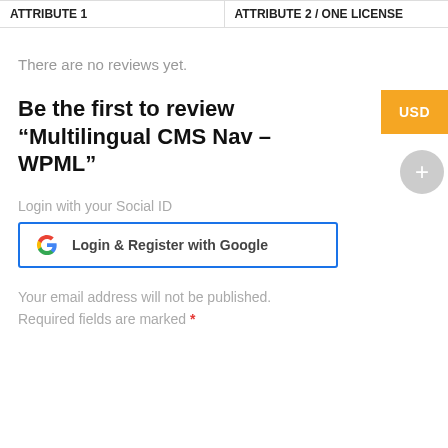| ATTRIBUTE 1 | ATTRIBUTE 2 / ONE LICENSE |
| --- | --- |
There are no reviews yet.
Be the first to review “Multilingual CMS Nav – WPML”
Login with your Social ID
[Figure (screenshot): Login & Register with Google button with Google G logo and blue border]
Your email address will not be published. Required fields are marked *